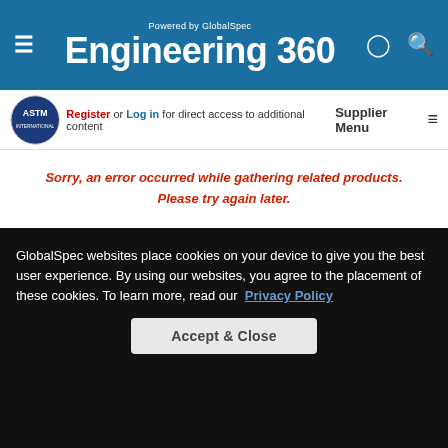Powered by GlobalSpec Engineering 360
Register or Log in for direct access to additional content
Supplier Menu
Sorry, an error occurred while gathering related products. Please try again later.
Sorry, an error occurred while gathering related suppliers. Please try again later.
GlobalSpec websites place cookies on your device to give you the best user experience. By using our websites, you agree to the placement of these cookies. To learn more, read our Privacy Policy
Accept & Close